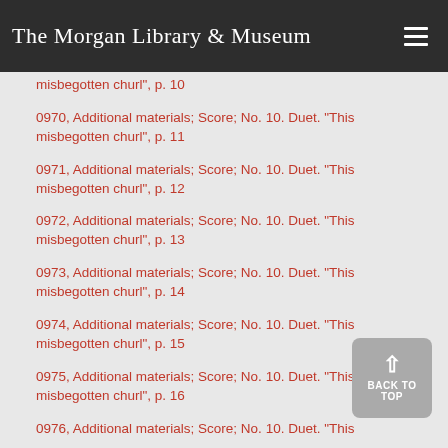The Morgan Library & Museum
misbegotten churl", p. 10
0970, Additional materials; Score; No. 10. Duet. "This misbegotten churl", p. 11
0971, Additional materials; Score; No. 10. Duet. "This misbegotten churl", p. 12
0972, Additional materials; Score; No. 10. Duet. "This misbegotten churl", p. 13
0973, Additional materials; Score; No. 10. Duet. "This misbegotten churl", p. 14
0974, Additional materials; Score; No. 10. Duet. "This misbegotten churl", p. 15
0975, Additional materials; Score; No. 10. Duet. "This misbegotten churl", p. 16
0976, Additional materials; Score; No. 10. Duet. "This